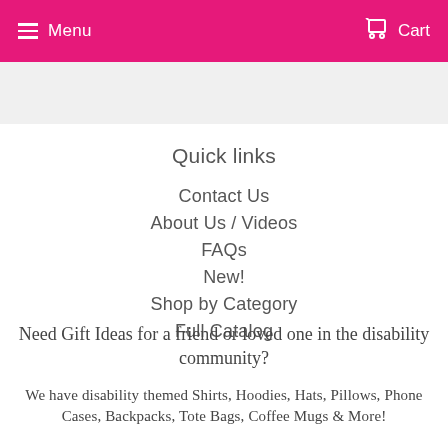Menu   Cart
Quick links
Contact Us
About Us / Videos
FAQs
New!
Shop by Category
Full Catalog
Need Gift Ideas for a friend or loved one in the disability community?
We have disability themed Shirts, Hoodies, Hats, Pillows, Phone Cases, Backpacks, Tote Bags, Coffee Mugs & More!